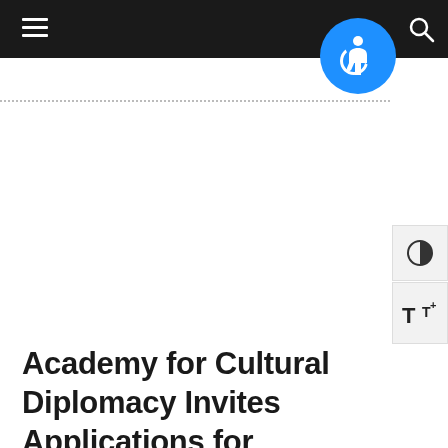Navigation bar with hamburger menu and search icon
[Figure (logo): Blue circular accessibility icon (wheelchair symbol) partially overlapping top navigation bar]
[Figure (other): Contrast toggle button (half-filled circle icon) on right side]
[Figure (other): Text size toggle button (T+ icon) on right side]
Academy for Cultural Diplomacy Invites Applications for Internship, Participation in World...